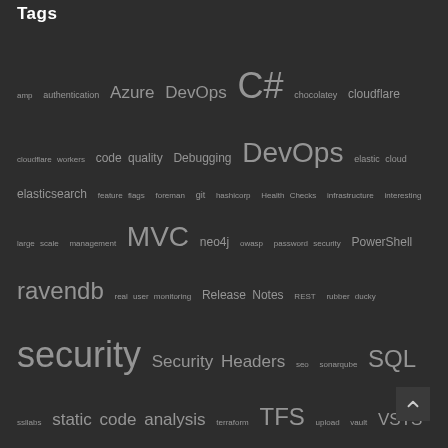Tags
amp authentication Azure DevOps C# chocolatey cloudflare cloudflare workers code quality Debugging DevOps elastic cloud elasticsearch feature flags foreman git hashicorp Health Checks infrastructure interesting large scale management MVC neo4j owasp password security PowerShell ravendb real user monitoring Release Notes REST rubber ducky security Security Headers seo sonarqube SQL ssllabs static code analysis terraform TFS upload vault VSTS wordpress Yubikey